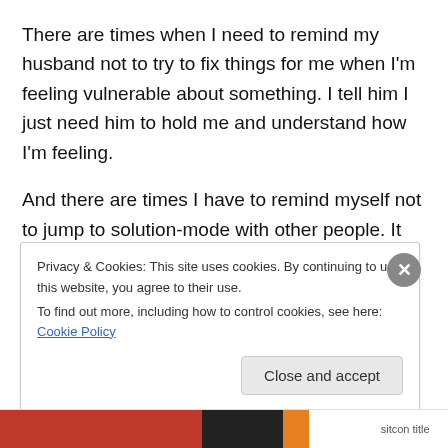There are times when I need to remind my husband not to try to fix things for me when I'm feeling vulnerable about something.  I tell him I just need him to hold me and understand how I'm feeling.
And there are times I have to remind myself not to jump to solution-mode with other people.  It can be difficult sometimes to sit with someone and be with them in their pain.
I'm reminded of the story of the four-year old boy whose
Privacy & Cookies: This site uses cookies. By continuing to use this website, you agree to their use.
To find out more, including how to control cookies, see here: Cookie Policy